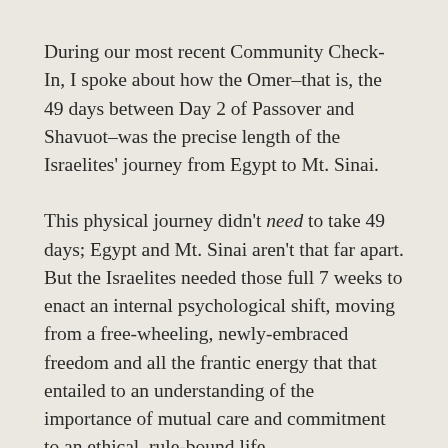During our most recent Community Check-In, I spoke about how the Omer–that is, the 49 days between Day 2 of Passover and Shavuot–was the precise length of the Israelites' journey from Egypt to Mt. Sinai.
This physical journey didn't need to take 49 days; Egypt and Mt. Sinai aren't that far apart. But the Israelites needed those full 7 weeks to enact an internal psychological shift, moving from a free-wheeling, newly-embraced freedom and all the frantic energy that that entailed to an understanding of the importance of mutual care and commitment to an ethical, rule-bound life.
Nowadays, we count the Omer to remember this